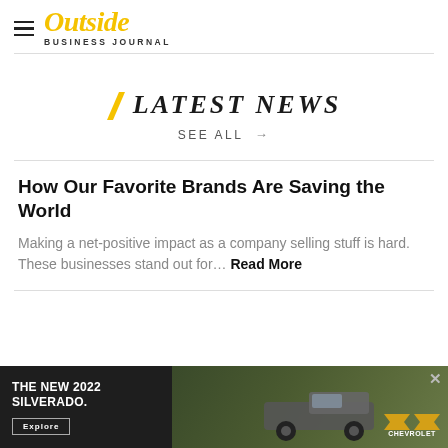Outside Business Journal
LATEST NEWS
SEE ALL →
How Our Favorite Brands Are Saving the World
Making a net-positive impact as a company selling stuff is hard. These businesses stand out for... Read More
[Figure (photo): Chevrolet advertisement banner: The New 2022 Silverado pickup truck shown on a dirt road with trees in background. Chevrolet logo visible. Explore button shown.]